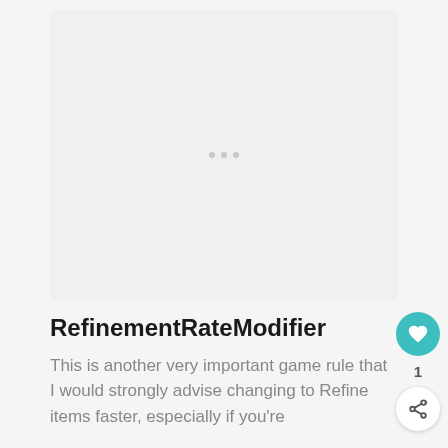[Figure (photo): Light gray placeholder image card with three small dots in the center]
RefinementRateModifier
This is another very important game rule that I would strongly advise changing to Refine items faster, especially if you're